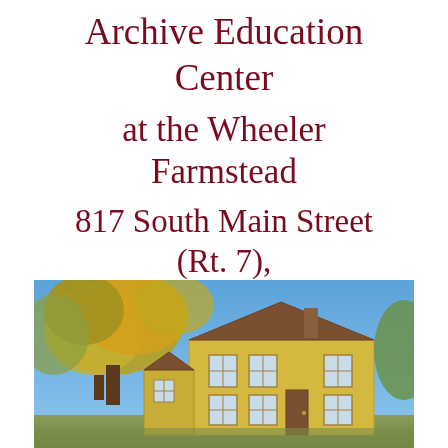Archive Education Center at the Wheeler Farmstead 817 South Main Street (Rt. 7), Great Barrington, Mass.
[Figure (photo): Photograph of a yellow colonial-style farmhouse building with blue sky and autumn trees in the background — the Wheeler Farmstead.]